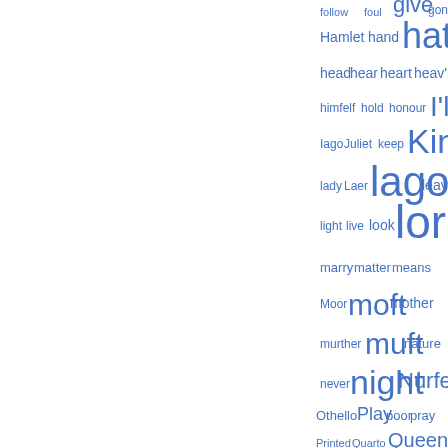[Figure (other): Word cloud of Shakespearean terms in blue, with words sized by frequency. Visible words include: follow, foul, give, gone, Hamlet, hand, hath, head, hear, heart, heav'n, himfelf, hold, honour, I'll, Iago, Juliet, keep, King, lady, Laer, lago, leave, light, live, look, lord, marry, matter, means, Moor, moft, mother, murther, muft, nature, never, night, Nurfe, Othello, Play, poor, pray, Printed, Quarto, Queen, Richard, Romeo, fay, fee, felf, fhall, fhe, fhould, fome, foul, fpeak, ftand, fuch, fweet, tell, thee, there's]